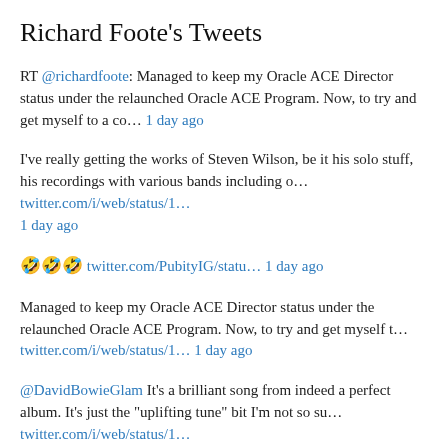Richard Foote’s Tweets
RT @richardfoote: Managed to keep my Oracle ACE Director status under the relaunched Oracle ACE Program. Now, to try and get myself to a co… 1 day ago
I’ve really getting the works of Steven Wilson, be it his solo stuff, his recordings with various bands including o… twitter.com/i/web/status/1… 1 day ago
🤣🤣🤣 twitter.com/PubityIG/statu… 1 day ago
Managed to keep my Oracle ACE Director status under the relaunched Oracle ACE Program. Now, to try and get myself t… twitter.com/i/web/status/1… 1 day ago
@DavidBowieGlam It’s a brilliant song from indeed a perfect album. It’s just the "uplifting tune" bit I’m not so su… twitter.com/i/web/status/1… 4 days ago
@amitzil Personally, I find learning a new language as being just about impossible, so you’re well ahead of me there. 😊 4 days ago